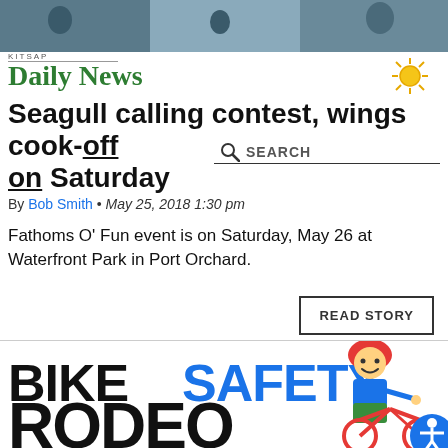[Figure (photo): Top banner photograph of people outdoors]
KITSAP Daily News
Seagull calling contest, wings cook-off on Saturday
SEARCH
By Bob Smith • May 25, 2018 1:30 pm
Fathoms O' Fun event is on Saturday, May 26 at Waterfront Park in Port Orchard.
READ STORY
[Figure (illustration): Bike Safety Rodeo illustration with a cartoon child wearing a red helmet riding a red bicycle, and bold text reading BIKE SAFETY RODEO]